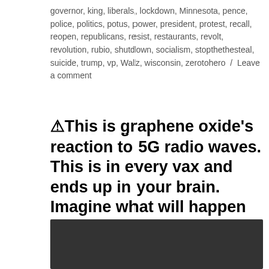governor, king, liberals, lockdown, Minnesota, pence, police, politics, potus, power, president, protest, recall, reopen, republicans, resist, restaurants, revolt, revolution, rubio, shutdown, socialism, stopthesteal, suicide, trump, vp, Walz, wisconsin, zerotohero / Leave a comment
⚠️This is graphene oxide's reaction to 5G radio waves. This is in every vax and ends up in your brain. Imagine what will happen when they turn the 5G on to full power at 64Ghz.
[Figure (other): Dark/black video thumbnail or embedded video player area, approximately rectangular, dark gray background.]